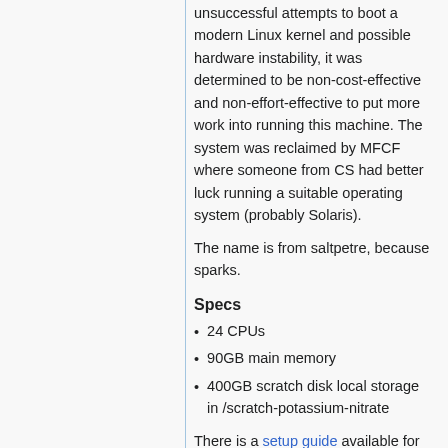unsuccessful attempts to boot a modern Linux kernel and possible hardware instability, it was determined to be non-cost-effective and non-effort-effective to put more work into running this machine. The system was reclaimed by MFCF where someone from CS had better luck running a suitable operating system (probably Solaris).
The name is from saltpetre, because sparks.
Specs
24 CPUs
90GB main memory
400GB scratch disk local storage in /scratch-potassium-nitrate
There is a setup guide available for this machine.